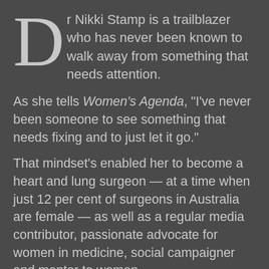Dr Nikki Stamp is a trailblazer who has never been known to walk away from something that needs attention.
As she tells Women's Agenda, "I've never been someone to see something that needs fixing and to just let it go."
That mindset's enabled her to become a heart and lung surgeon — at a time when just 12 per cent of surgeons in Australia are female — as well as a regular media contributor, passionate advocate for women in medicine, social campaigner and mentor to women.
It's also now seeing her speak out on how our